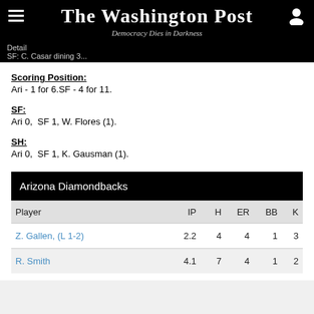The Washington Post
Democracy Dies in Darkness
Scoring Position:
Ari - 1 for 6.SF - 4 for 11.
SF:
Ari 0,  SF 1, W. Flores (1).
SH:
Ari 0,  SF 1, K. Gausman (1).
| Player | IP | H | ER | BB | K |
| --- | --- | --- | --- | --- | --- |
| Z. Gallen, (L 1-2) | 2.2 | 4 | 4 | 1 | 3 |
| R. Smith | 4.1 | 7 | 4 | 1 | 2 |